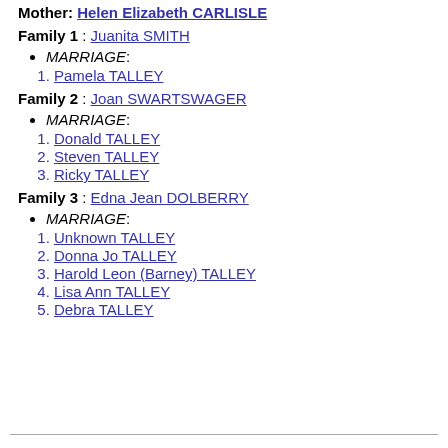Mother: Helen Elizabeth CARLISLE
Family 1 : Juanita SMITH
MARRIAGE:
1. Pamela TALLEY
Family 2 : Joan SWARTSWAGER
MARRIAGE:
1. Donald TALLEY
2. Steven TALLEY
3. Ricky TALLEY
Family 3 : Edna Jean DOLBERRY
MARRIAGE:
1. Unknown TALLEY
2. Donna Jo TALLEY
3. Harold Leon (Barney) TALLEY
4. Lisa Ann TALLEY
5. Debra TALLEY